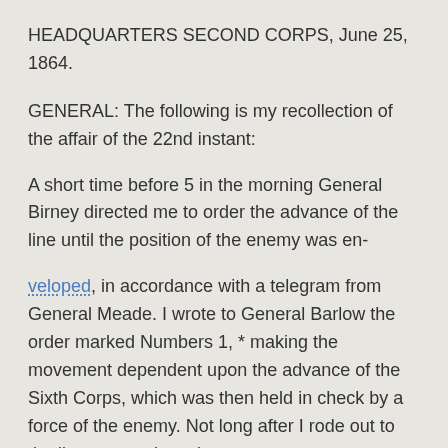HEADQUARTERS SECOND CORPS, June 25, 1864.
GENERAL: The following is my recollection of the affair of the 22nd instant:
A short time before 5 in the morning General Birney directed me to order the advance of the line until the position of the enemy was en-
veloped, in accordance with a telegram from General Meade. I wrote to General Barlow the order marked Numbers 1, * making the movement dependent upon the advance of the Sixth Corps, which was then held in check by a force of the enemy. Not long after I rode out to the lines to see how the movement was progressing and found there was some difficulty about getting the skirmish lines out. i saw a staff officer of General Wright, who reported that their